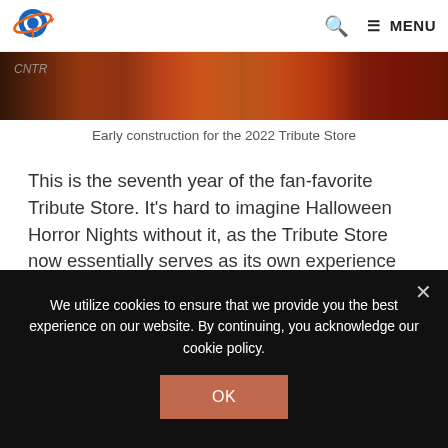Logo | Search | MENU
[Figure (photo): Early construction photo for the 2022 Tribute Store — dark reddish-orange banner/sign image strip]
Early construction for the 2022 Tribute Store
This is the seventh year of the fan-favorite Tribute Store. It's hard to imagine Halloween Horror Nights without it, as the Tribute Store now essentially serves as its own experience and attraction. For the first time in its history, this store will be themed after the featured scare zones at this year's event. Journey through a pumpkin patch, cemetery, witch's cottage, and Halloween festival as you shop for this year's merchandise and specialty snacks.
We utilize cookies to ensure that we provide you the best experience on our website. By continuing, you acknowledge our cookie policy.